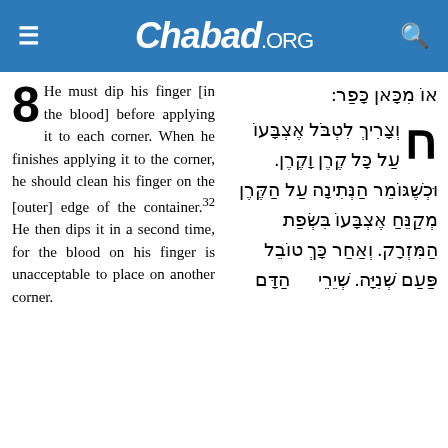Chabad.ORG
אוֹ מִכָּאן כָּפַר:
8 He must dip his finger [in the blood] before applying it to each corner. When he finishes applying it to the corner, he should clean his finger on the [outer] edge of the container.32 He then dips it in a second time, for the blood on his finger is unacceptable to place on another corner.
ח וְצָרִיךְ לִטְבֹּל אֶצְבָּעוֹ עַל כָּל קֶרֶן וָקֶרֶן. וּכְשֶׁגּוֹמֵר הַנְּתִינָה עַל הַקֶּרֶן מְקַנֵּחַ אֶצְבָּעוֹ בִּשְׂפַת הַמִּזְרָק. וְאַחַר כָּךְ טוֹבֵל פַּעַם שְׁנִיָּה. שְׁיֵרֵי הַדָּם